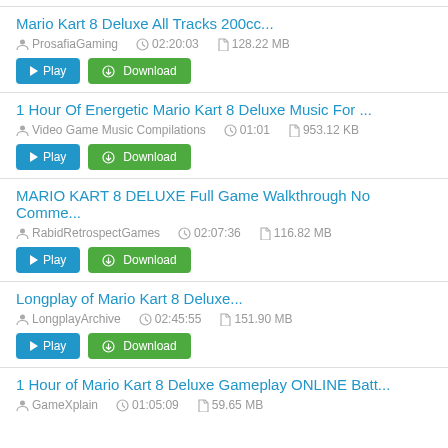Mario Kart 8 Deluxe All Tracks 200cc... | ProsafiaGaming | 02:20:03 | 128.22 MB
1 Hour Of Energetic Mario Kart 8 Deluxe Music For ... | Video Game Music Compilations | 01:01 | 953.12 KB
MARIO KART 8 DELUXE Full Game Walkthrough No Comme... | RabidRetrospectGames | 02:07:36 | 116.82 MB
Longplay of Mario Kart 8 Deluxe... | LongplayArchive | 02:45:55 | 151.90 MB
1 Hour of Mario Kart 8 Deluxe Gameplay ONLINE Batt... | GameXplain | 01:05:09 | 59.65 MB